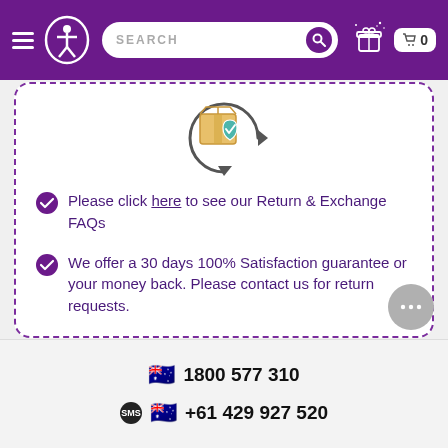SEARCH | navigation header with logo, search bar, gift icon, cart 0
[Figure (illustration): Return/exchange icon: cardboard box with a shield checkmark and circular arrows]
Please click here to see our Return & Exchange FAQs
We offer a 30 days 100% Satisfaction guarantee or your money back. Please contact us for return requests.
1800 577 310
+61 429 927 520